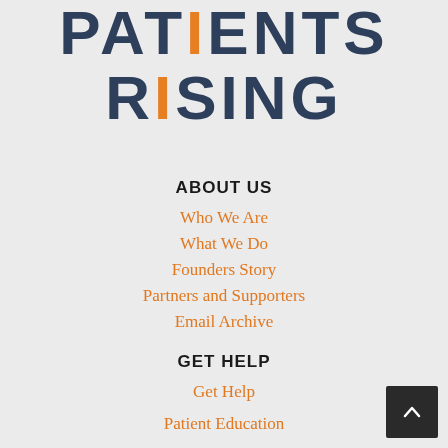[Figure (logo): Patients Rising logo — PATIENTS RISING text in dark navy blue with orange vertical bar accent through the letter I]
ABOUT US
Who We Are
What We Do
Founders Story
Partners and Supporters
Email Archive
GET HELP
Get Help
Patient Education